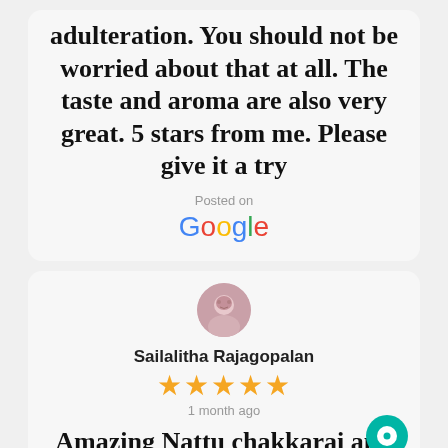adulteration. You should not be worried about that at all. The taste and aroma are also very great. 5 stars from me. Please give it a try
Posted on
[Figure (logo): Google logo in multicolor text]
[Figure (photo): Round avatar photo of reviewer Sailalitha Rajagopalan]
Sailalitha Rajagopalan
★★★★★
1 month ago
Amazing Nattu chakkarai and